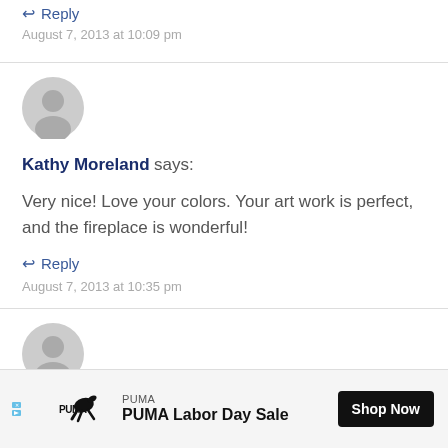↩ Reply
August 7, 2013 at 10:09 pm
[Figure (illustration): Gray default user avatar icon (circle with head silhouette)]
Kathy Moreland says:
Very nice! Love your colors. Your art work is perfect, and the fireplace is wonderful!
↩ Reply
August 7, 2013 at 10:35 pm
[Figure (illustration): Partial gray default user avatar icon at bottom]
[Figure (infographic): PUMA advertisement banner: PUMA logo, text 'PUMA Labor Day Sale', Shop Now button]